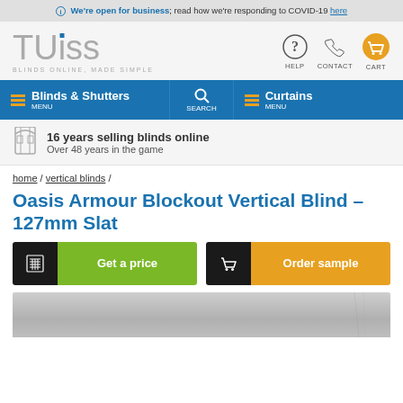We're open for business; read how we're responding to COVID-19 here
[Figure (logo): TUISS Blinds Online, Made Simple logo with help, contact, cart icons]
[Figure (screenshot): Navigation bar with Blinds & Shutters menu, Search, Curtains menu on blue background]
16 years selling blinds online / Over 48 years in the game
home / vertical blinds /
Oasis Armour Blockout Vertical Blind – 127mm Slat
[Figure (infographic): Get a price button (calculator icon + green label) and Order sample button (cart icon + orange label)]
[Figure (photo): Partial product image showing vertical blind slats in grey/silver color]